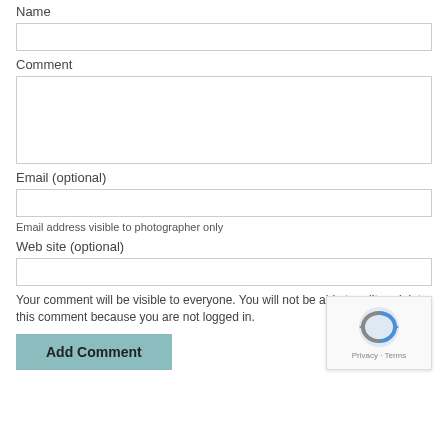Name
[Figure (other): Name text input field]
Comment
[Figure (other): Comment textarea input field]
Email (optional)
[Figure (other): Email text input field]
Email address visible to photographer only
Web site (optional)
[Figure (other): Web site text input field]
Your comment will be visible to everyone. You will not be able to edit or delete this comment because you are not logged in.
[Figure (other): Add Comment button]
[Figure (other): reCAPTCHA widget with privacy and terms links]